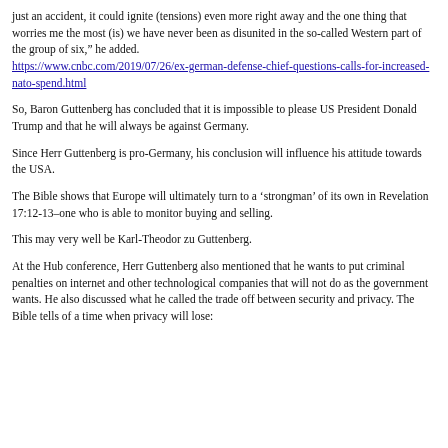just an accident, it could ignite (tensions) even more right away and the one thing that worries me the most (is) we have never been as disunited in the so-called Western part of the group of six," he added. https://www.cnbc.com/2019/07/26/ex-german-defense-chief-questions-calls-for-increased-nato-spend.html
So, Baron Guttenberg has concluded that it is impossible to please US President Donald Trump and that he will always be against Germany.
Since Herr Guttenberg is pro-Germany, his conclusion will influence his attitude towards the USA.
The Bible shows that Europe will ultimately turn to a ‘strongman’ of its own in Revelation 17:12-13–one who is able to monitor buying and selling.
This may very well be Karl-Theodor zu Guttenberg.
At the Hub conference, Herr Guttenberg also mentioned that he wants to put criminal penalties on internet and other technological companies that will not do as the government wants. He also discussed what he called the trade off between security and privacy. The Bible tells of a time when privacy will lose: